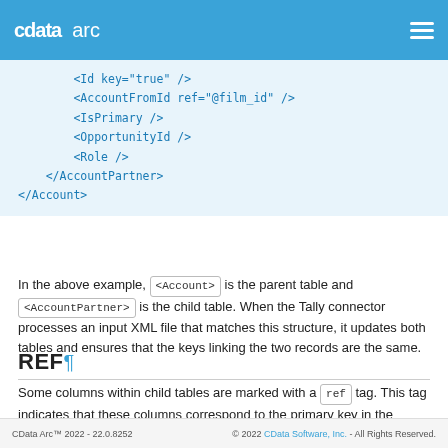cdata arc
[Figure (screenshot): Code block showing XML structure with Id, AccountFromId, IsPrimary, OpportunityId, Role, AccountPartner, and Account closing tags]
In the above example, <Account> is the parent table and <AccountPartner> is the child table. When the Tally connector processes an input XML file that matches this structure, it updates both tables and ensures that the keys linking the two records are the same.
REF
Some columns within child tables are marked with a ref tag. This tag indicates that these columns correspond to the primary key in the parent table. After making the insert into the parent table, and before
CData Arc™ 2022 - 22.0.8252   © 2022 CData Software, Inc. - All Rights Reserved.